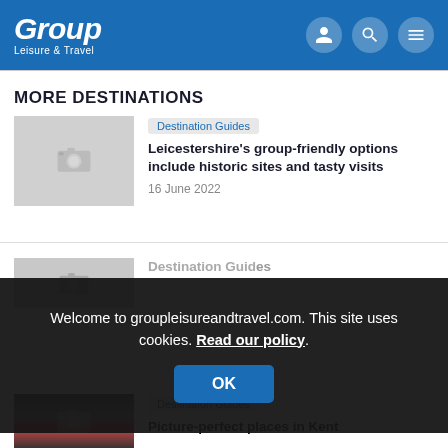Group Leisure & Travel
MORE DESTINATIONS
[Figure (screenshot): Placeholder thumbnail with camera icon for Leicestershire article]
Leicestershire's group-friendly options include historic sites and tasty visits
Destination Guides
16 June 2022
[Figure (screenshot): Partially visible thumbnail for second article behind cookie overlay]
Destination Guides (partially visible)
Welcome to groupleisureandtravel.com. This site uses cookies. Read our policy.
OK
[Figure (photo): Sunset/dusk photo thumbnail for Kent article]
Destination Guides
Picture-perfect places in Kent